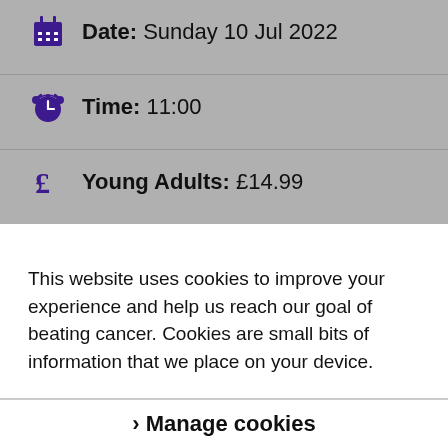Date: Sunday 10 Jul 2022
Time: 11:00
Young Adults: £14.99
This website uses cookies to improve your experience and help us reach our goal of beating cancer. Cookies are small bits of information that we place on your device.
We use necessary cookies to make the site work, and others to help us do things like monitor site usage and personalise advertising. Read more about the different cookies we use in our cookies policy. You can continue to the site and accept all cookies. Or you can manage how we use them.
› Manage cookies